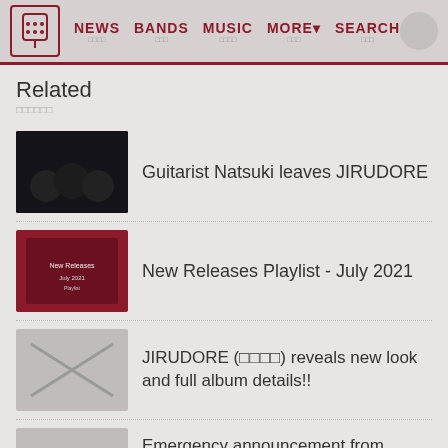NEWS  BANDS  MUSIC  MORE  SEARCH
Related
Guitarist Natsuki leaves JIRUDORE
New Releases Playlist - July 2021
JIRUDORE (ジルドレ) reveals new look and full album details!!
Emergency announcement from JIRUDORE (ジルドレ): 2nd anniversary and first full album!